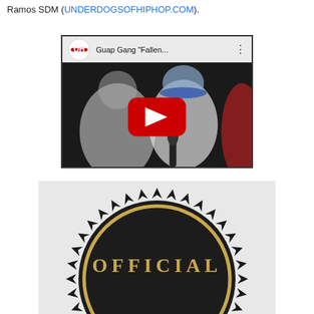Ramos SDM (UNDERDOGSOFHIPHOP.COM).
[Figure (screenshot): YouTube video thumbnail showing Guap Gang 'Fallen...' with Underdog Hip Hop channel logo, people rapping into a microphone, with red YouTube play button overlay]
[Figure (logo): Official badge/seal logo with dark circular gear-like border and gold circle, with text 'OFFICIAL' in gold letters on dark background]